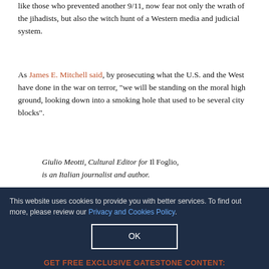like those who prevented another 9/11, now fear not only the wrath of the jihadists, but also the witch hunt of a Western media and judicial system.
As James E. Mitchell said, by prosecuting what the U.S. and the West have done in the war on terror, "we will be standing on the moral high ground, looking down into a smoking hole that used to be several city blocks".
Giulio Meotti, Cultural Editor for Il Foglio, is an Italian journalist and author.
DONATE
© 2022 Gatestone Institute. All rights reserved. The articles printed here do not necessarily reflect the views of the Editors.
This website uses cookies to provide you with better services. To find out more, please review our Privacy and Cookies Policy.
OK
GET FREE EXCLUSIVE GATESTONE CONTENT: